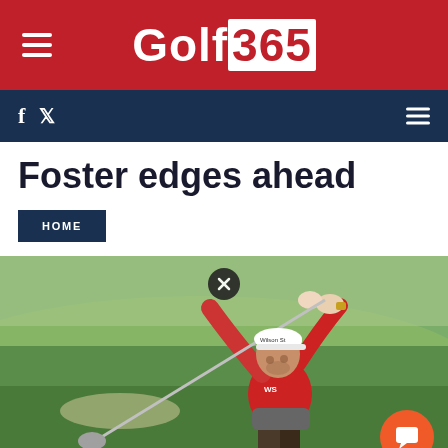Golf365
Foster edges ahead
HOME
[Figure (photo): A male golfer wearing a red and grey shirt and white Wilson Staff cap, mid-swing after hitting a shot, with a golf club raised above his head and a green golf course background.]